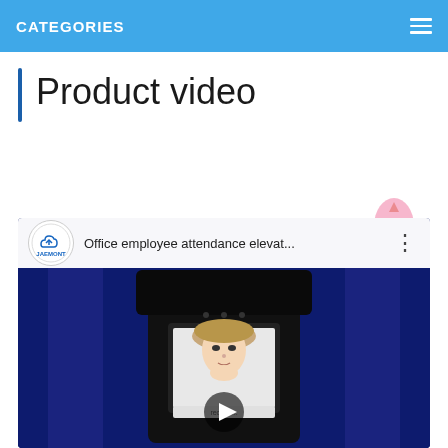CATEGORIES
Product video
[Figure (screenshot): YouTube video thumbnail showing a face recognition attendance device (JAEMONT channel). Title reads 'Office employee attendance elevat...' with a person's face visible on the device screen.]